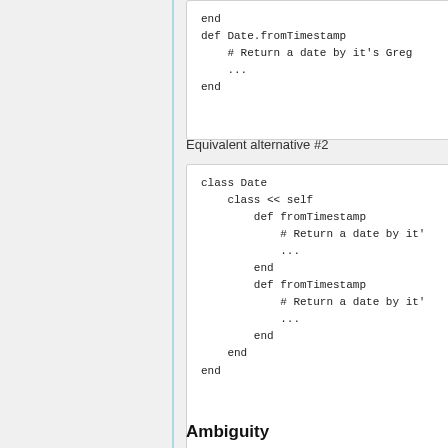[Figure (screenshot): Code block showing Ruby code: end, def Date.fromTimestamp, # Return a date by it's Greg, ..., end]
Equivalent alternative #2
[Figure (screenshot): Code block showing Ruby code: class Date, class << self, def fromTimestamp, # Return a date by it's, ..., end, def fromTimestamp, # Return a date by it', ..., end, end, end]
Ambiguity